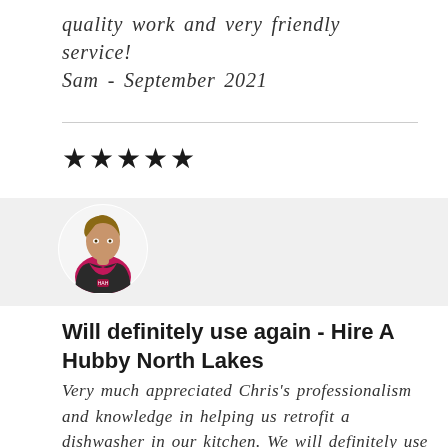quality work and very friendly service! Sam - September 2021
[Figure (other): Five black star rating icons]
[Figure (illustration): Circular avatar illustration of a person wearing a dark jacket and pink/magenta shirt, shown from the shoulders up]
Will definitely use again - Hire A Hubby North Lakes
Very much appreciated Chris's professionalism and knowledge in helping us retrofit a dishwasher in our kitchen. We will definitely use again. Rob - June 2021